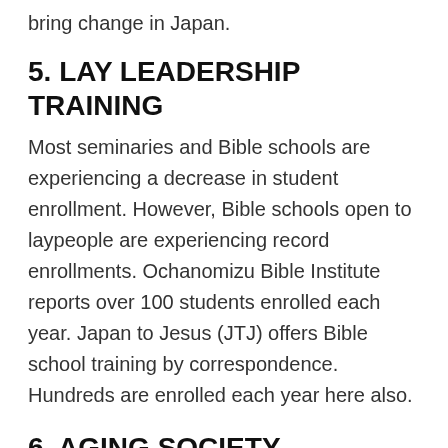bring change in Japan.
5. LAY LEADERSHIP TRAINING
Most seminaries and Bible schools are experiencing a decrease in student enrollment. However, Bible schools open to laypeople are experiencing record enrollments. Ochanomizu Bible Institute reports over 100 students enrolled each year. Japan to Jesus (JTJ) offers Bible school training by correspondence. Hundreds are enrolled each year here also.
6. AGING SOCIETY
The "graying of Japan" is becoming a concern